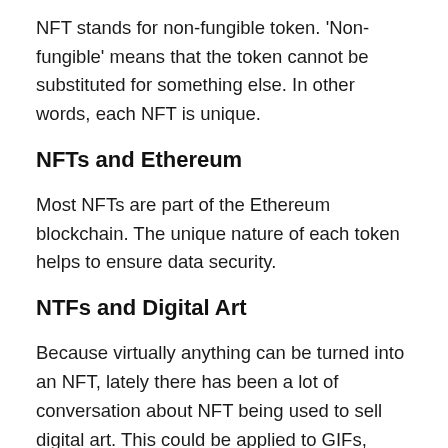NFT stands for non-fungible token. 'Non-fungible' means that the token cannot be substituted for something else. In other words, each NFT is unique.
NFTs and Ethereum
Most NFTs are part of the Ethereum blockchain. The unique nature of each token helps to ensure data security.
NTFs and Digital Art
Because virtually anything can be turned into an NFT, lately there has been a lot of conversation about NFT being used to sell digital art. This could be applied to GIFs, Tweets, Tik Toks – pretty much any form of digital content. While anyone can make a copy of digital content, owning the rights as an NFT makes...